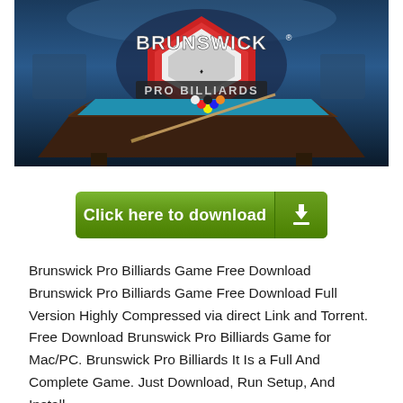[Figure (screenshot): Brunswick Pro Billiards game promotional image showing a billiards table with blue felt and Brunswick Pro Billiards logo at top]
[Figure (infographic): Green 'Click here to download' button with download arrow icon on the right]
Brunswick Pro Billiards Game Free Download Brunswick Pro Billiards Game Free Download Full Version Highly Compressed via direct Link and Torrent. Free Download Brunswick Pro Billiards Game for Mac/PC. Brunswick Pro Billiards It Is a Full And Complete Game. Just Download, Run Setup, And Install.